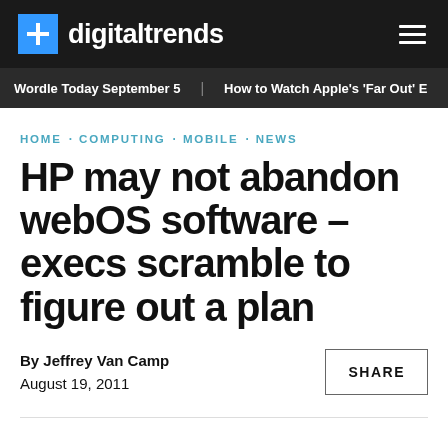digitaltrends
Wordle Today September 5   How to Watch Apple's 'Far Out' E
HOME · COMPUTING · MOBILE · NEWS
HP may not abandon webOS software – execs scramble to figure out a plan
By Jeffrey Van Camp
August 19, 2011